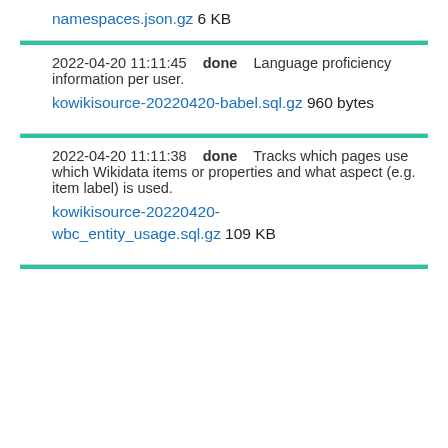namespaces.json.gz 6 KB
2022-04-20 11:11:45  done  Language proficiency information per user.
kowikisource-20220420-babel.sql.gz 960 bytes
2022-04-20 11:11:38  done  Tracks which pages use which Wikidata items or properties and what aspect (e.g. item label) is used.
kowikisource-20220420-wbc_entity_usage.sql.gz 109 KB